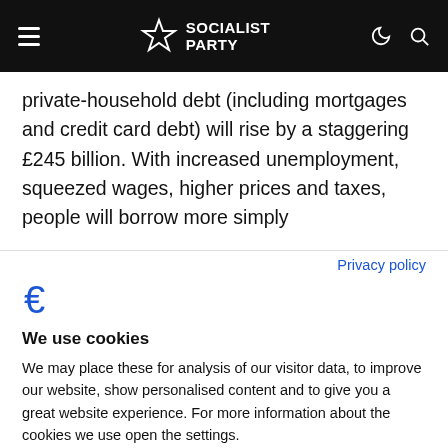Socialist Party
private-household debt (including mortgages and credit card debt) will rise by a staggering £245 billion. With increased unemployment, squeezed wages, higher prices and taxes, people will borrow more simply
Privacy policy
[Figure (logo): Cookiebot logo - stylized C with cookie/euro symbol in blue]
We use cookies
We may place these for analysis of our visitor data, to improve our website, show personalised content and to give you a great website experience. For more information about the cookies we use open the settings.
Accept all
Deny
No, adjust